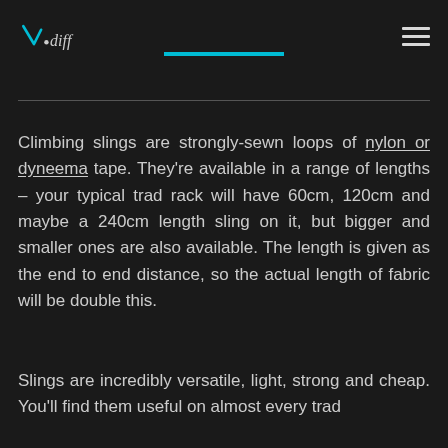V.diff [logo] [hamburger menu]
Climbing slings are strongly-sewn loops of nylon or dyneema tape. They're available in a range of lengths – your typical trad rack will have 60cm, 120cm and maybe a 240cm length sling on it, but bigger and smaller ones are also available. The length is given as the end to end distance, so the actual length of fabric will be double this.
Slings are incredibly versatile, light, strong and cheap. You'll find them useful on almost every trad